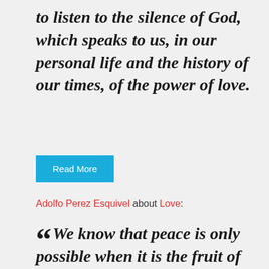to listen to the silence of God, which speaks to us, in our personal life and the history of our times, of the power of love.
Read More
Adolfo Perez Esquivel about Love:
“We know that peace is only possible when it is the fruit of justice. True peace is a